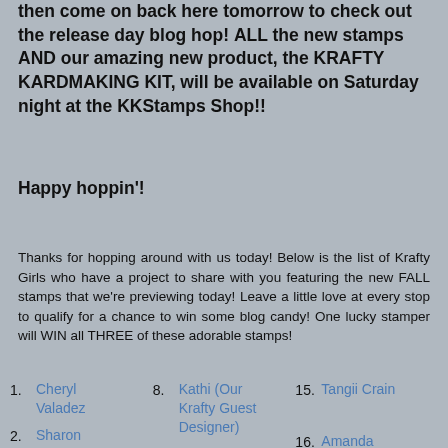then come on back here tomorrow to check out the release day blog hop! ALL the new stamps AND our amazing new product, the KRAFTY KARDMAKING KIT, will be available on Saturday night at the KKStamps Shop!!
Happy hoppin'!
Thanks for hopping around with us today!  Below is the list of Krafty Girls who have a project to share with you featuring the new FALL stamps that we're previewing today!  Leave a little love at every stop to qualify for a chance to win some blog candy!  One lucky stamper will WIN all THREE of these adorable stamps!
1. Cheryl Valadez
8. Kathi (Our Krafty Guest Designer)
15. Tangii Crain
2. Sharon Caudle
9. Alyce Keegan
16. Amanda Reed